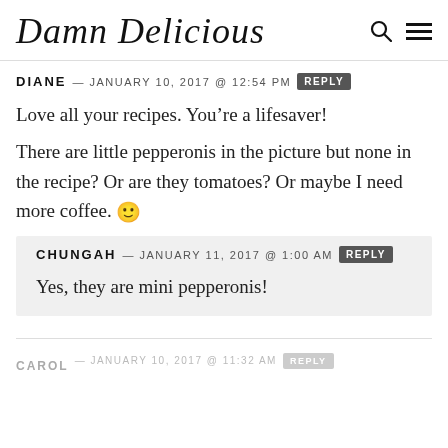Damn Delicious
DIANE — JANUARY 10, 2017 @ 12:54 PM REPLY
Love all your recipes. You’re a lifesaver!
There are little pepperonis in the picture but none in the recipe? Or are they tomatoes? Or maybe I need more coffee. 🙂
CHUNGAH — JANUARY 11, 2017 @ 1:00 AM REPLY
Yes, they are mini pepperonis!
CAROL — JANUARY 10, 2017 @ 11:32 AM REPLY